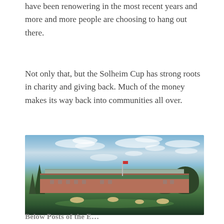have been renowering in the most recent years and more and more people are choosing to hang out there.
Not only that, but the Solheim Cup has strong roots in charity and giving back. Much of the money makes its way back into communities all over.
[Figure (photo): Photograph of a golf course clubhouse with a large brick building, green fairways with sand bunkers in the foreground, trees on the left and right sides, and a dramatic cloudy blue sky overhead.]
Below Posts of the E...